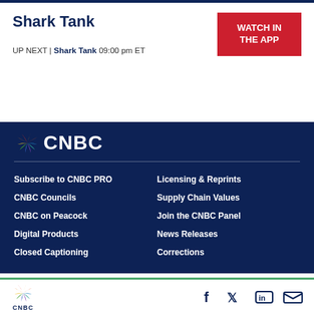Shark Tank
WATCH IN THE APP
UP NEXT | Shark Tank 09:00 pm ET
[Figure (logo): CNBC logo with peacock feather icon on dark blue background]
Subscribe to CNBC PRO
Licensing & Reprints
CNBC Councils
Supply Chain Values
CNBC on Peacock
Join the CNBC Panel
Digital Products
News Releases
Closed Captioning
Corrections
CNBC footer with social media icons: Facebook, Twitter, LinkedIn, Email